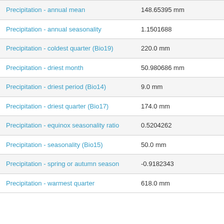| Precipitation - annual mean | 148.65395 mm |
| Precipitation - annual seasonality | 1.1501688 |
| Precipitation - coldest quarter (Bio19) | 220.0 mm |
| Precipitation - driest month | 50.980686 mm |
| Precipitation - driest period (Bio14) | 9.0 mm |
| Precipitation - driest quarter (Bio17) | 174.0 mm |
| Precipitation - equinox seasonality ratio | 0.5204262 |
| Precipitation - seasonality (Bio15) | 50.0 mm |
| Precipitation - spring or autumn season | -0.9182343 |
| Precipitation - warmest quarter | 618.0 mm |